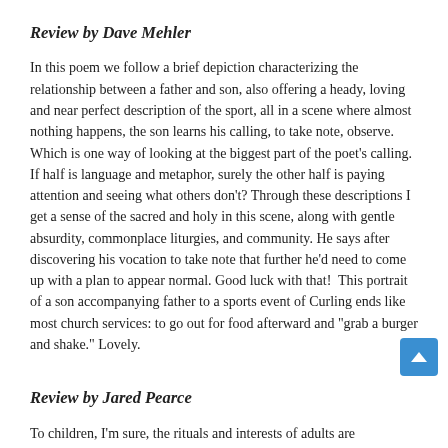Review by Dave Mehler
In this poem we follow a brief depiction characterizing the relationship between a father and son, also offering a heady, loving and near perfect description of the sport, all in a scene where almost nothing happens, the son learns his calling, to take note, observe. Which is one way of looking at the biggest part of the poet’s calling. If half is language and metaphor, surely the other half is paying attention and seeing what others don’t? Through these descriptions I get a sense of the sacred and holy in this scene, along with gentle absurdity, commonplace liturgies, and community. He says after discovering his vocation to take note that further he’d need to come up with a plan to appear normal. Good luck with that!  This portrait of a son accompanying father to a sports event of Curling ends like most church services: to go out for food afterward and “grab a burger and shake.” Lovely.
Review by Jared Pearce
To children, I’m sure, the rituals and interests of adults are mysterious and, let’s face it, probably a waste of time.  Nevertheless, we adults persist—even in the reading and writing of poems.  My favorite part of this poem is the bewilderment the speaker feels as a child watching curling, and, even more delicious, his understanding